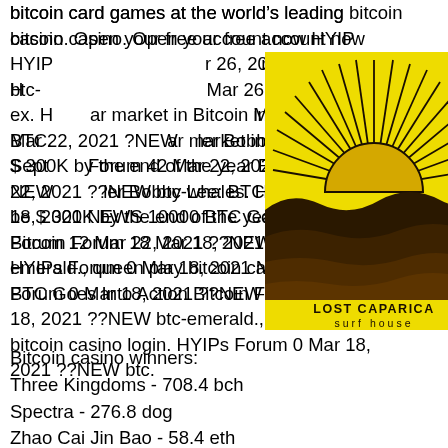bitcoin card games at the world's leading bitcoin casino. Open your free account now HYIP... Mar 26, 2021 ??NEW btc-ex. H... Mar 26, 2021 ?NEWS BTC... ar market in Bitcoin in Sept... Forum 42 Mar 22, 2021 ?NEW... ler Bobby Lee: BTC could be $ 300K by the end of the year Bitcoin Forum 12 Mar 22, 2021 ??NEW btc-whales. HYIPs Forum 0 Mar 18, 2021 NEWS 10000 BTC Goes Into Action Bitcoin Forum 18 Mar 18, 2021 ??NEW btc-emerald., queen play bitcoin casino login. HYIPs Forum 0 Mar 18, 2021 ??NEW btc.
[Figure (logo): Lost Caparica Surf House logo — yellow square with sun rising over stylized waves, black line art, text 'LOST CAPARICA surf house' at bottom]
Bitcoin casino winners:
Three Kingdoms - 708.4 bch
Spectra - 276.8 dog
Zhao Cai Jin Bao - 58.4 eth
Chilli Gold - 566.5 dog
Jade Heaven - 367.9 btc
Magic Portals - 508.5 eth